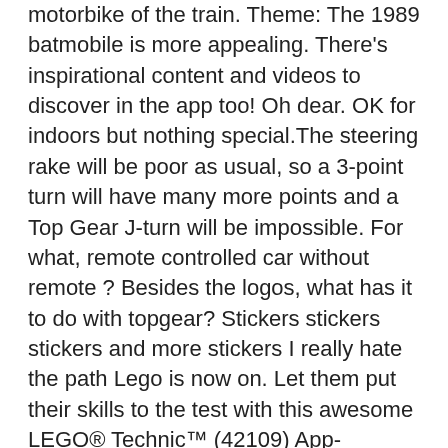motorbike of the train. Theme: The 1989 batmobile is more appealing. There's inspirational content and videos to discover in the app too! Oh dear. OK for indoors but nothing special.The steering rake will be poor as usual, so a 3-point turn will have many more points and a Top Gear J-turn will be impossible. For what, remote controlled car without remote ? Besides the logos, what has it to do with topgear? Stickers stickers stickers and more stickers I really hate the path Lego is now on. Let them put their skills to the test with this awesome LEGO® Technic™ (42109) App-Controlled Top Gear Rally Car. I'll be interested to see how the steering works with a normal motor and not a servo motor, and how well it works. I hope The Lego Company is reading all of this! Although I see a lot of non-youngster texting and driving as well... Hopefully it won't take too long before we can look at a screen and have the cars drive by themselves safely.Concerning the currency conversion: in the US